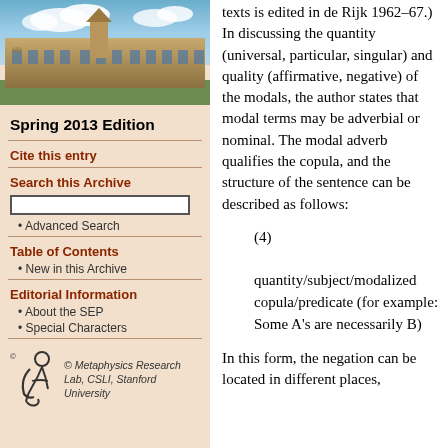[Figure (photo): University building photo - sandstone architecture with gothic style, blue sky with clouds]
Spring 2013 Edition
Cite this entry
Search this Archive
Advanced Search
Table of Contents
New in this Archive
Editorial Information
About the SEP
Special Characters
[Figure (logo): Metaphysics Research Lab, CSLI, Stanford University logo with stylized figure]
texts is edited in de Rijk 1962–67.) In discussing the quantity (universal, particular, singular) and quality (affirmative, negative) of the modals, the author states that modal terms may be adverbial or nominal. The modal adverb qualifies the copula, and the structure of the sentence can be described as follows:
(4)
quantity/subject/modalized copula/predicate (for example: Some A's are necessarily B)
In this form, the negation can be located in different places,